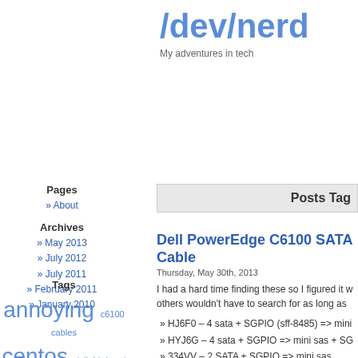/dev/nerd
My adventures in tech
Pages
» About
Archives
» May 2013
» July 2012
» July 2011
» February 2011
» January 2010
Posts Tagged
Tags
annoying c6100 cables centos dell drbd esxi games hardware hyper-v linux Mass Effect microsoft networking problems sas sff-8087 sff-8485 technet telemarketers virtualization vmware windows xen
Dell PowerEdge C6100 SATA Cable
Thursday, May 30th, 2013
I had a hard time finding these so I figured it w... others wouldn't have to search for as long as
» HJ6F0 – 4 sata + SGPIO (sff-8485) => mini
» HYJ6G – 4 sata + SGPIO => mini sas + SG
» 334VV – 2 SATA + SGPIO => mini sas
» 6J3R2 – 6 sata cables
» DV4VY – 3 sata cables
» 3T15J – 3 sata + SGPIO =>  mini sas